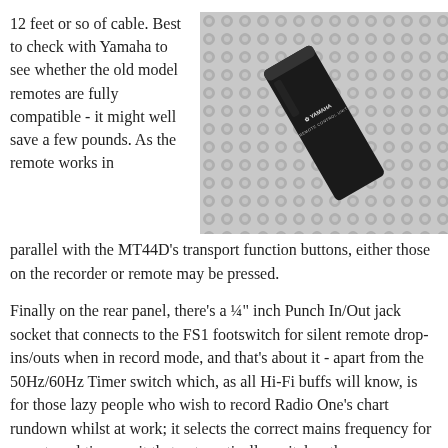12 feet or so of cable. Best to check with Yamaha to see whether the old model remotes are fully compatible - it might well save a few pounds. As the remote works in parallel with the MT44D's transport function buttons, either those on the recorder or remote may be pressed.
[Figure (photo): Black and white photograph of a Yamaha Remote Control Unit device resting on a textured surface, photographed at an angle showing the label 'YAMAHA REMOTE CONTROL UNIT'.]
Finally on the rear panel, there's a ¼" inch Punch In/Out jack socket that connects to the FS1 footswitch for silent remote drop-ins/outs when in record mode, and that's about it - apart from the 50Hz/60Hz Timer switch which, as all Hi-Fi buffs will know, is for those lazy people who wish to record Radio One's chart rundown whilst at work; it selects the correct mains frequency for an external timer unit that automatically switches the power on and off to the MT44D (pre-set for record) at an